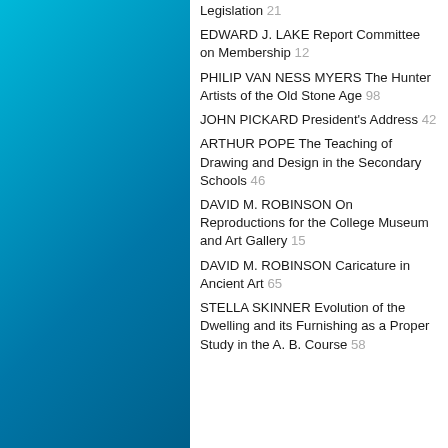Legislation 21
EDWARD J. LAKE Report Committee on Membership 12
PHILIP VAN NESS MYERS The Hunter Artists of the Old Stone Age 98
JOHN PICKARD President's Address 42
ARTHUR POPE The Teaching of Drawing and Design in the Secondary Schools 46
DAVID M. ROBINSON On Reproductions for the College Museum and Art Gallery 15
DAVID M. ROBINSON Caricature in Ancient Art 65
STELLA SKINNER Evolution of the Dwelling and its Furnishing as a Proper Study in the A. B. Course 58